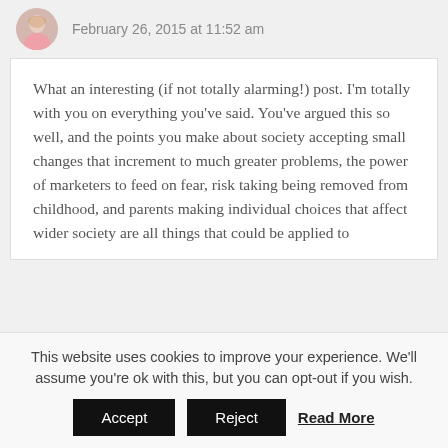[Figure (photo): Circular avatar photo of a woman with blonde hair wearing a pink top, partially visible at top left]
February 26, 2015 at 11:52 am
What an interesting (if not totally alarming!) post. I'm totally with you on everything you've said. You've argued this so well, and the points you make about society accepting small changes that increment to much greater problems, the power of marketers to feed on fear, risk taking being removed from childhood, and parents making individual choices that affect wider society are all things that could be applied to
This website uses cookies to improve your experience. We'll assume you're ok with this, but you can opt-out if you wish.
Accept   Reject   Read More